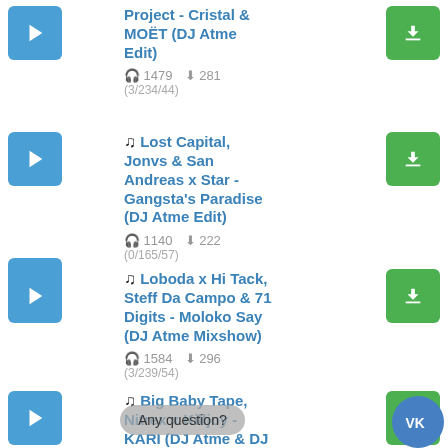Project - Cristal & MOËT (DJ Atme Edit) | 1479 plays 281 downloads | (3/234/44)
♫ Lost Capital, Jonvs & San Andreas x Star - Gangsta's Paradise (DJ Atme Edit) | 1140 plays 222 downloads | (0/165/57)
♫ Loboda x Hi Tack, Steff Da Campo & 71 Digits - Moloko Say (DJ Atme Mixshow) | 1584 plays 296 downloads | (3/239/54)
♫ Big Baby Tape, Nitrex x Killjoy - KARI (DJ Atme & DJ Nitkin Edit) | 1428 plays 249 downloads | (1/188/60)
♫ Artik & Kacher x Arteez - Bailame (DJ...